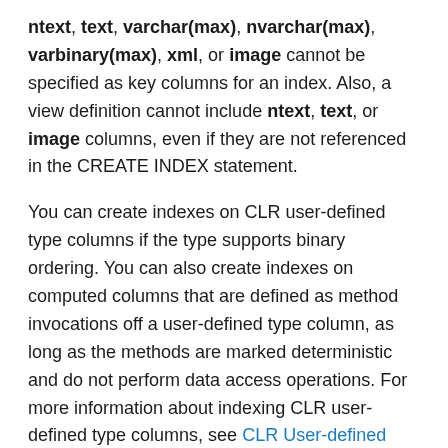ntext, text, varchar(max), nvarchar(max), varbinary(max), xml, or image cannot be specified as key columns for an index. Also, a view definition cannot include ntext, text, or image columns, even if they are not referenced in the CREATE INDEX statement.
You can create indexes on CLR user-defined type columns if the type supports binary ordering. You can also create indexes on computed columns that are defined as method invocations off a user-defined type column, as long as the methods are marked deterministic and do not perform data access operations. For more information about indexing CLR user-defined type columns, see CLR User-defined Types.
[ ASC | DESC ]